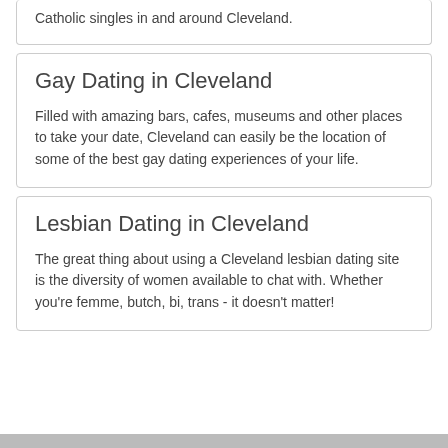Catholic singles in and around Cleveland.
Gay Dating in Cleveland
Filled with amazing bars, cafes, museums and other places to take your date, Cleveland can easily be the location of some of the best gay dating experiences of your life.
Lesbian Dating in Cleveland
The great thing about using a Cleveland lesbian dating site is the diversity of women available to chat with. Whether you're femme, butch, bi, trans - it doesn't matter!